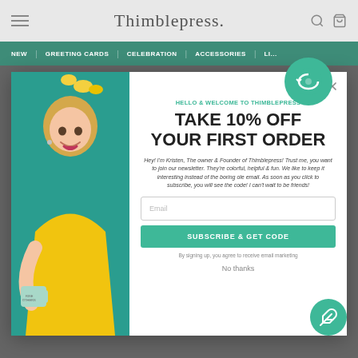Thimblepress.
NEW | GREETING CARDS | CELEBRATION | ACCESSORIES | L...
[Figure (screenshot): Website popup modal for Thimblepress newsletter signup. Left side shows photo of smiling blonde woman in yellow top holding a mint mug. Right side shows offer: HELLO & WELCOME TO THIMBLEPRESS - TAKE 10% OFF YOUR FIRST ORDER, email input field, SUBSCRIBE & GET CODE button, and No thanks link.]
HELLO & WELCOME TO THIMBLEPRESS
TAKE 10% OFF YOUR FIRST ORDER
Hey! I'm Kristen, The owner & Founder of Thimblepress! Trust me, you want to join our newsletter. They're colorful, helpful & fun. We like to keep it interesting instead of the boring ole email. As soon as you click to subscribe, you will see the code! I can't wait to be friends!
Email
SUBSCRIBE & GET CODE
By signing up, you agree to receive email marketing
No thanks
Chat with us